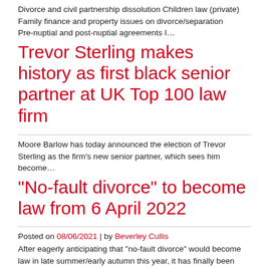Divorce and civil partnership dissolution Children law (private) Family finance and property issues on divorce/separation Pre-nuptial and post-nuptial agreements I…
Trevor Sterling makes history as first black senior partner at UK Top 100 law firm
Moore Barlow has today announced the election of Trevor Sterling as the firm's new senior partner, which sees him become…
“No-fault divorce” to become law from 6 April 2022
Posted on 08/06/2021 | by Beverley Cullis
After eagerly anticipating that “no-fault divorce” would become law in late summer/early autumn this year, it has finally been announced…
Posted in Moore Barlow | Tagged Family and divorce